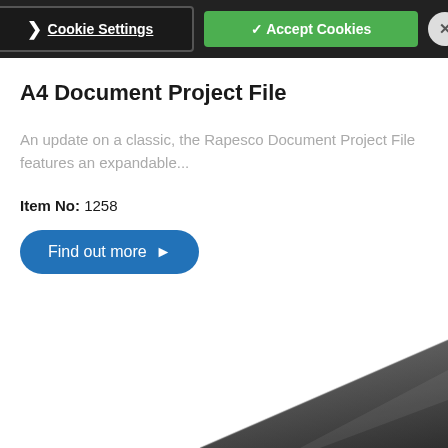Cookie Settings | Accept Cookies | X
A4 Document Project File
An update on a classic, the Rapesco Document Project File features an expandable...
Item No: 1258
Find out more ▶
[Figure (photo): Partial view of a dark grey A4 Document Project File folder at the bottom of the page]